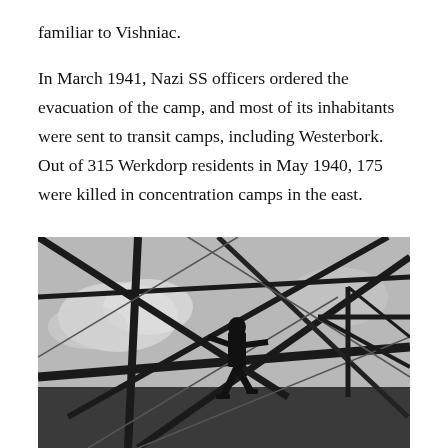familiar to Vishniac.
In March 1941, Nazi SS officers ordered the evacuation of the camp, and most of its inhabitants were sent to transit camps, including Westerbork. Out of 315 Werkdorp residents in May 1940, 175 were killed in concentration camps in the east.
[Figure (photo): Black and white photograph of a person standing on metal scaffolding or structural framework, viewed from below against a cloudy sky. The figure is silhouetted against the sky amidst diagonal and triangular steel beams and cables.]